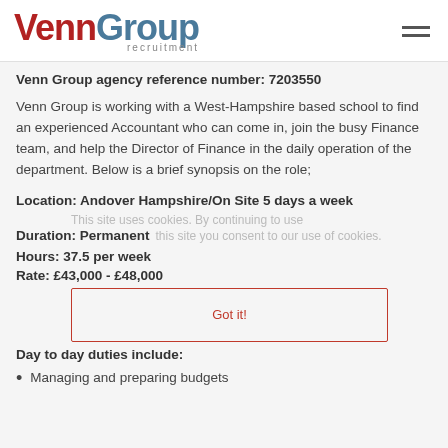[Figure (logo): VennGroup recruitment logo with hamburger menu icon]
Venn Group agency reference number: 7203550
Venn Group is working with a West-Hampshire based school to find an experienced Accountant who can come in, join the busy Finance team, and help the Director of Finance in the daily operation of the department. Below is a brief synopsis on the role;
Location: Andover Hampshire/On Site 5 days a week
Duration: Permanent
Hours: 37.5 per week
Rate: £43,000 - £48,000
Day to day duties include:
Managing and preparing budgets